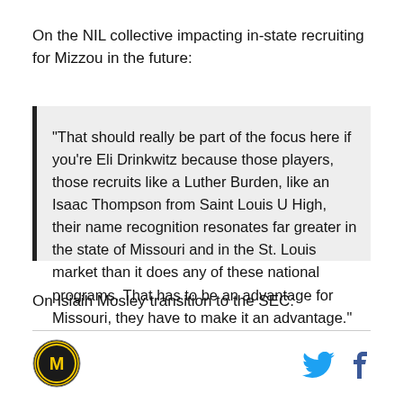On the NIL collective impacting in-state recruiting for Mizzou in the future:
“That should really be part of the focus here if you’re Eli Drinkwitz because those players, those recruits like a Luther Burden, like an Isaac Thompson from Saint Louis U High, their name recognition resonates far greater in the state of Missouri and in the St. Louis market than it does any of these national programs. That has to be an advantage for Missouri, they have to make it an advantage.”
On Isiaih Mosley transition to the SEC:
[Figure (logo): Mizzou M logo circle badge]
[Figure (logo): Twitter bird icon and Facebook f icon]